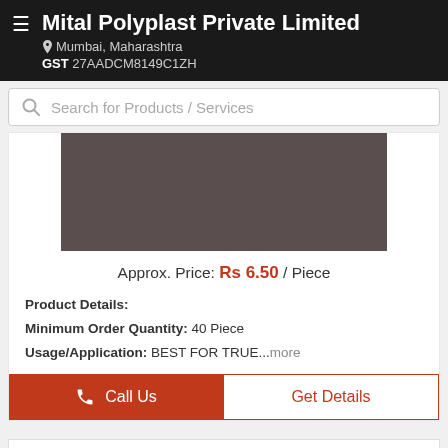Mital Polyplast Private Limited | Mumbai, Maharashtra | GST 27AADCM8149C1ZH
Search for Products / Services
[Figure (photo): Product image placeholder - brownish-grey rectangle]
Approx. Price: Rs 6.50 / Piece
Product Details:
Minimum Order Quantity: 40 Piece
Usage/Application: BEST FOR TRUE...more
Call Us
Get Details
A4 200 GSM Sonography Photo Papers